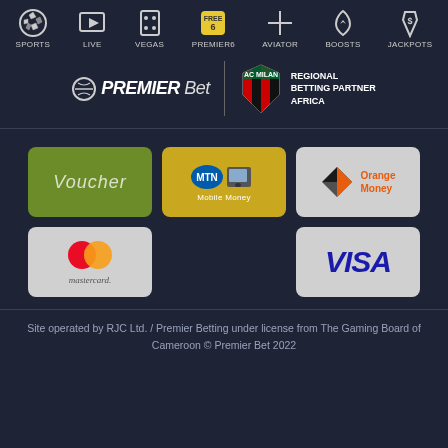SPORTS | LIVE | VEGAS | PREMIER6 | AVIATOR | BOOSTS | JACKPOTS
[Figure (logo): Premier Bet logo with AC Milan Regional Betting Partner Africa partnership banner]
[Figure (infographic): Payment method logos: Voucher, MTN Mobile Money, Orange Money, Mastercard, VISA]
Site operated by RJC Ltd. / Premier Betting under license from The Gaming Board of Cameroon © Premier Bet 2022